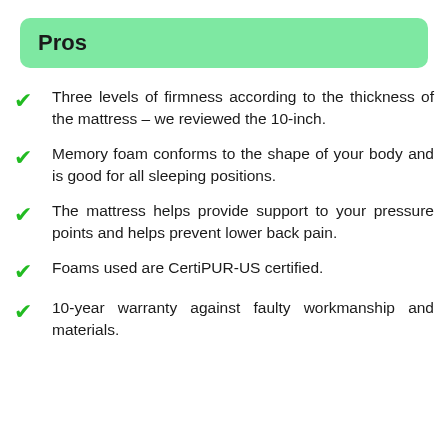Pros
Three levels of firmness according to the thickness of the mattress – we reviewed the 10-inch.
Memory foam conforms to the shape of your body and is good for all sleeping positions.
The mattress helps provide support to your pressure points and helps prevent lower back pain.
Foams used are CertiPUR-US certified.
10-year warranty against faulty workmanship and materials.